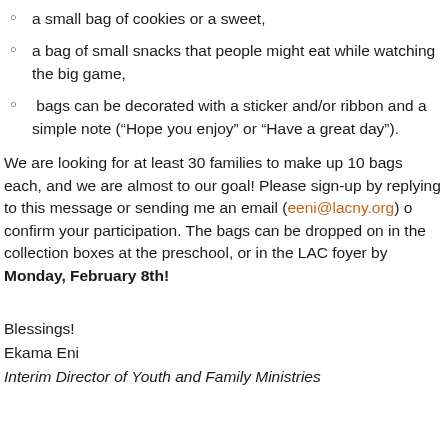a small bag of cookies or a sweet,
a bag of small snacks that people might eat while watching the big game,
bags can be decorated with a sticker and/or ribbon and a simple note (“Hope you enjoy” or “Have a great day”).
We are looking for at least 30 families to make up 10 bags each, and we are almost to our goal! Please sign-up by replying to this message or sending me an email (eeni@lacny.org) o confirm your participation. The bags can be dropped on in the collection boxes at the preschool, or in the LAC foyer by Monday, February 8th!
Blessings!
Ekama Eni
Interim Director of Youth and Family Ministries